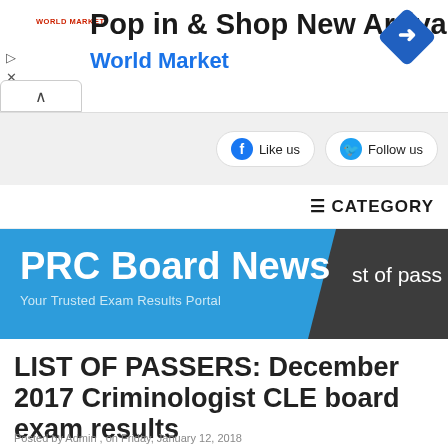[Figure (screenshot): Advertisement banner for World Market: 'Pop in & Shop New Arrivals' with World Market logo and blue navigation diamond icon]
[Figure (screenshot): Social media buttons: Facebook 'Like us' and Twitter 'Follow us' rounded pill buttons on grey background]
≡ CATEGORY
[Figure (screenshot): PRC Board News website header banner in blue with dark grey angled section. Title: 'PRC Board News', subtitle: 'Your Trusted Exam Results Portal', and partial text 'st of pass']
LIST OF PASSERS: December 2017 Criminologist CLE board exam results
Posted by Admin , on Friday, January 12, 2018